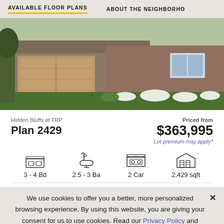AVAILABLE FLOOR PLANS   ABOUT THE NEIGHBORHOOD
[Figure (photo): Exterior photo of a single-story brick and stone home with a tan two-car garage door, landscaped front yard with green lawn and white flowering bushes.]
Hidden Bluffs at TRP
Plan 2429
Priced from
$363,995
Lot premium may apply*
3 - 4 Bd
2.5 - 3 Ba
2 Car
2,429 sqft
We use cookies to offer you a better, more personalized browsing experience. By using this website, you are giving your consent for us to use cookies. Read our Privacy Policy and Cookie Policy.